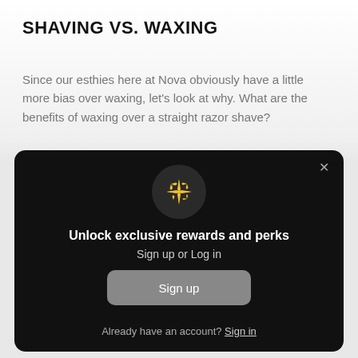SHAVING VS. WAXING
Since our esthies here at Nova obviously have a little more bias over waxing, let's look at why. What are the benefits of waxing over a straight razor shave?
[Figure (screenshot): A dark modal overlay with a sparkle/star icon in a dark circle, heading 'Unlock exclusive rewards and perks', subtext 'Sign up or Log in', a grey 'Sign up' button, and a link 'Already have an account? Sign in'. An X close button is in the top right corner.]